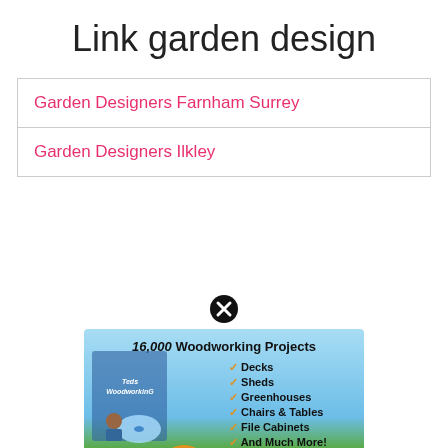Link garden design
Garden Designers Farnham Surrey
Garden Designers Ilkley
[Figure (illustration): Advertisement popup for Ted's WoodWorking showing product box, DVD, and person. Text: 16,000 Woodworking Projects - Decks, Sheds, Greenhouses, Chairs & Tables, File Cabinets, And Much More! #1 Recommended. Download Your Plans Now!]
Dm... ight
Ny... y.id
IowaJo... u.my.id
https://ciz... pot.com/